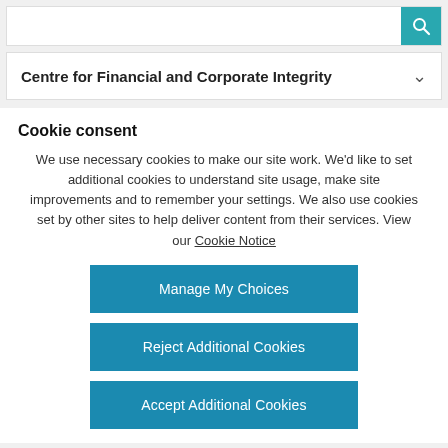Centre for Financial and Corporate Integrity
Cookie consent
We use necessary cookies to make our site work. We'd like to set additional cookies to understand site usage, make site improvements and to remember your settings. We also use cookies set by other sites to help deliver content from their services. View our Cookie Notice
Manage My Choices
Reject Additional Cookies
Accept Additional Cookies